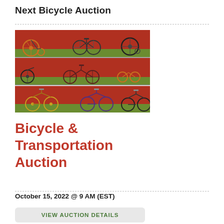Next Bicycle Auction
[Figure (photo): Grid of 3 rows of antique and vintage bicycles leaning against a red barn wall with green grass. Top row shows 3 old high-wheel penny-farthing style bikes. Middle row shows 3 more vintage bicycles. Bottom row shows 3 road/touring bicycles.]
Bicycle & Transportation Auction
October 15, 2022 @ 9 AM (EST)
VIEW AUCTION DETAILS